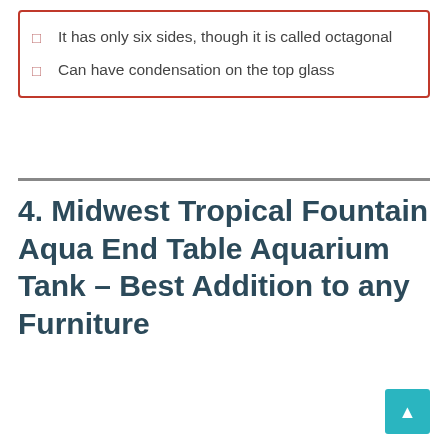It has only six sides, though it is called octagonal
Can have condensation on the top glass
4. Midwest Tropical Fountain Aqua End Table Aquarium Tank – Best Addition to any Furniture